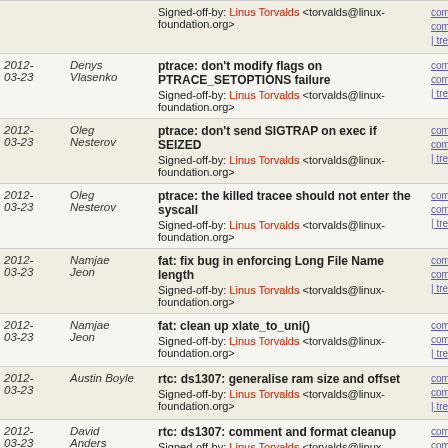2012-03-23 | Denys Vlasenko | ptrace: don't modify flags on PTRACE_SETOPTIONS failure | Signed-off-by: Linus Torvalds <torvalds@linux-foundation.org>
2012-03-23 | Oleg Nesterov | ptrace: don't send SIGTRAP on exec if SEIZED | Signed-off-by: Linus Torvalds <torvalds@linux-foundation.org>
2012-03-23 | Oleg Nesterov | ptrace: the killed tracee should not enter the syscall | Signed-off-by: Linus Torvalds <torvalds@linux-foundation.org>
2012-03-23 | Namjae Jeon | fat: fix bug in enforcing Long File Name length | Signed-off-by: Linus Torvalds <torvalds@linux-foundation.org>
2012-03-23 | Namjae Jeon | fat: clean up xlate_to_uni() | Signed-off-by: Linus Torvalds <torvalds@linux-foundation.org>
2012-03-23 | Austin Boyle | rtc: ds1307: generalise ram size and offset | Signed-off-by: Linus Torvalds <torvalds@linux-foundation.org>
2012-03-23 | David Anders | rtc: ds1307: comment and format cleanup | Signed-off-by: Linus Torvalds <torvalds@linux-foundation.org>
2012- | Wolfram | rtc: ds1307: simplify irq setup code